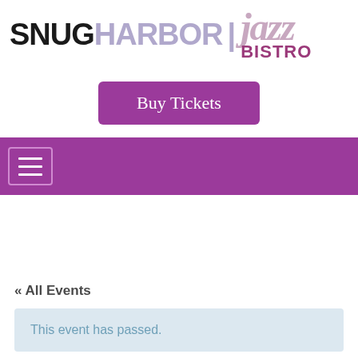[Figure (logo): Snug Harbor Jazz Bistro logo. 'SNUG' in black bold, 'HARBOR' in light purple bold, vertical divider bar, 'jazz' in italic pink, 'BISTRO' in dark purple bold below jazz.]
Buy Tickets
[Figure (other): Purple navigation bar with hamburger menu icon (three horizontal lines inside a rounded rectangle outline).]
« All Events
This event has passed.
GERMAINE BAZZLE with the